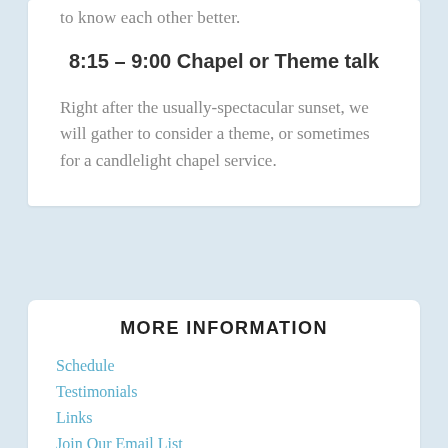to know each other better.
8:15 – 9:00 Chapel or Theme talk
Right after the usually-spectacular sunset, we will gather to consider a theme, or sometimes for a candlelight chapel service.
MORE INFORMATION
Schedule
Testimonials
Links
Join Our Email List